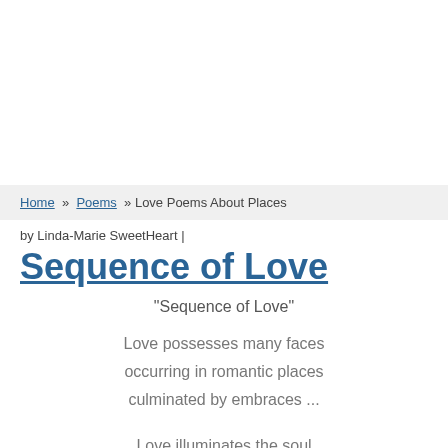Home » Poems » Love Poems About Places
by Linda-Marie SweetHeart |
Sequence of Love
"Sequence of Love"
Love possesses many faces
occurring in romantic places
culminated by embraces ...
Love illuminates the soul